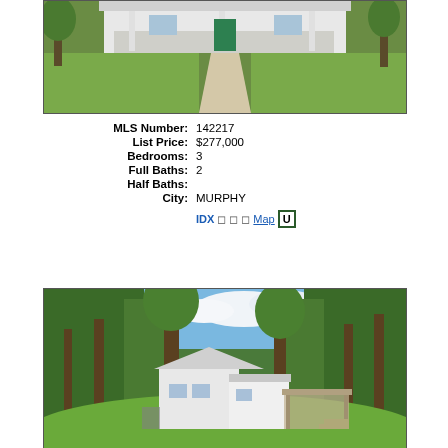[Figure (photo): Exterior front photo of a white house with a covered porch, green lawn, and concrete walkway leading to the entrance]
| MLS Number: | 142217 |
| List Price: | $277,000 |
| Bedrooms: | 3 |
| Full Baths: | 2 |
| Half Baths: |  |
| City: | MURPHY |
IDX | | | Map U
[Figure (photo): Exterior photo of a white split-level house surrounded by large trees with a wooded backdrop and green lawn]